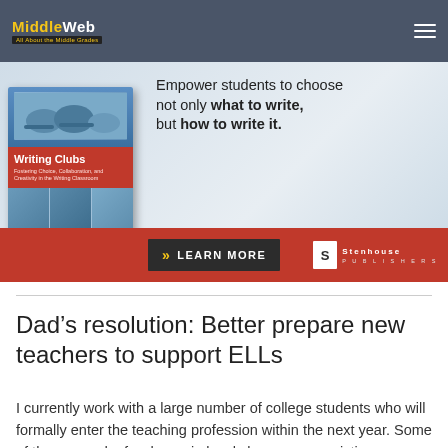MiddleWeb
[Figure (infographic): Advertisement banner for 'Writing Clubs' book by Stenhouse Publishers. Shows a book cover on the left with text: 'Empower students to choose not only what to write, but how to write it.' with a LEARN MORE button and Stenhouse Publishers logo on a red strip at the bottom.]
Dad’s resolution: Better prepare new teachers to support ELLs
I currently work with a large number of college students who will formally enter the teaching profession within the next year. Some of them spend a few hours in local classrooms assisting